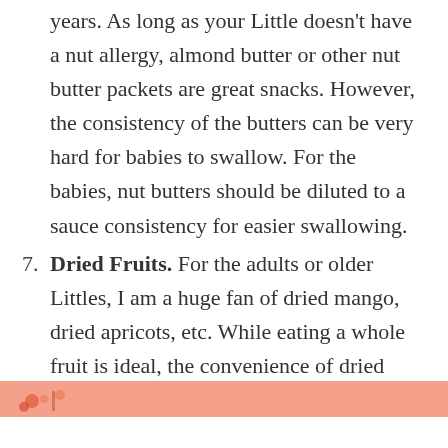years.  As long as your Little doesn't have a nut allergy, almond butter or other nut butter packets are great snacks.  However, the consistency of the butters can be very hard for babies to swallow.  For the babies, nut butters should be diluted to a sauce consistency for easier swallowing.
7. Dried Fruits.  For the adults or older Littles, I am a huge fan of dried mango, dried apricots, etc.  While eating a whole fruit is ideal, the convenience of dried fruit is great for the beach!
[Figure (illustration): Partial footer image with peach/salmon background color showing beginning of decorative illustration with small figures]